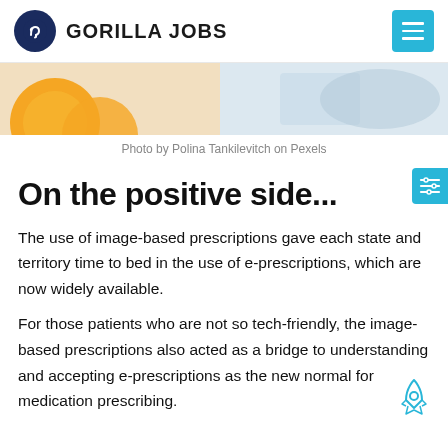GORILLA JOBS
[Figure (photo): Close-up photo of oranges/fruit and a hand on a light surface]
Photo by Polina Tankilevitch on Pexels
On the positive side...
The use of image-based prescriptions gave each state and territory time to bed in the use of e-prescriptions, which are now widely available.
For those patients who are not so tech-friendly, the image-based prescriptions also acted as a bridge to understanding and accepting e-prescriptions as the new normal for medication prescribing.